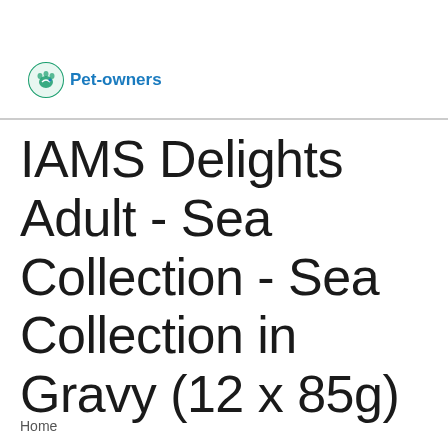Pet-owners
IAMS Delights Adult - Sea Collection - Sea Collection in Gravy (12 x 85g)
Home